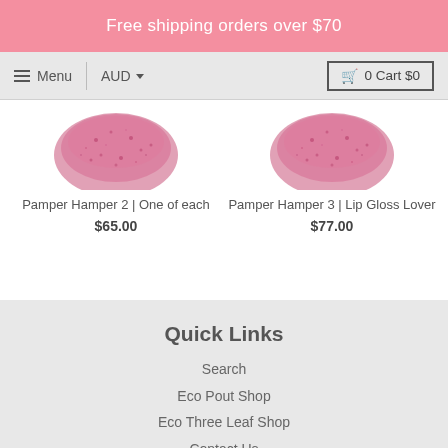Free shipping orders over $70
≡ Menu  AUD ▾   🛒 0 Cart $0
Pamper Hamper 2 | One of each
$65.00
Pamper Hamper 3 | Lip Gloss Lover
$77.00
Quick Links
Search
Eco Pout Shop
Eco Three Leaf Shop
Contact Us